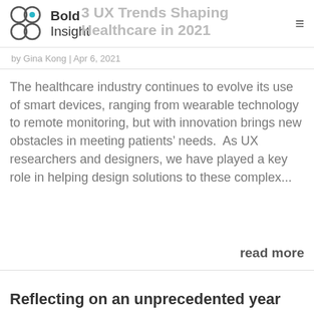Bold Insight
3 UX Trends Shaping Healthcare in 2021
by Gina Kong | Apr 6, 2021
The healthcare industry continues to evolve its use of smart devices, ranging from wearable technology to remote monitoring, but with innovation brings new obstacles in meeting patients' needs.  As UX researchers and designers, we have played a key role in helping design solutions to these complex...
read more
Reflecting on an unprecedented year